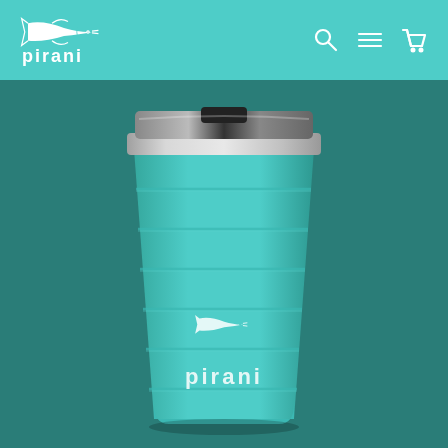pirani
[Figure (photo): A teal/turquoise colored insulated stainless steel tumbler/cup with horizontal ribbed bands, a silver metallic lid with a dark slider, and the Pirani fish logo and brand name printed in white on the lower portion. The cup sits against a dark teal background.]